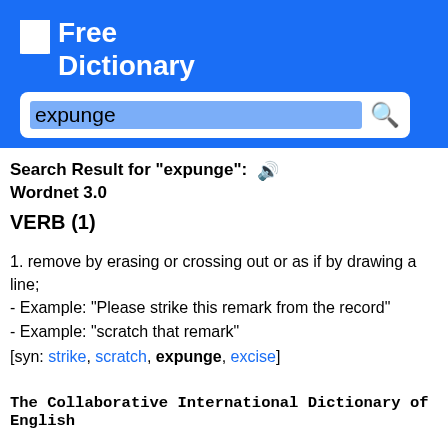[Figure (logo): Free Dictionary logo with white bookmark icon and white text on blue background]
expunge (search input)
Search Result for "expunge": 🔊
Wordnet 3.0
VERB (1)
1. remove by erasing or crossing out or as if by drawing a line;
- Example: "Please strike this remark from the record"
- Example: "scratch that remark"
[syn: strike, scratch, expunge, excise]
The Collaborative International Dictionary of English